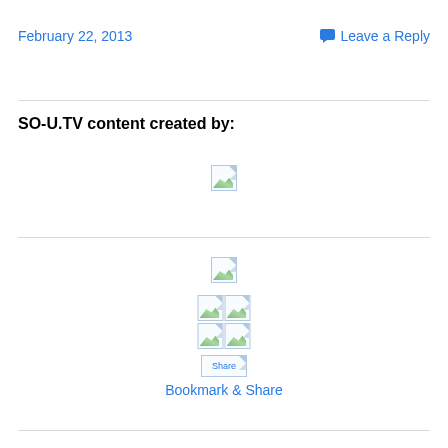February 22, 2013
💬 Leave a Reply
SO-U.TV content created by:
[Figure (illustration): Broken/placeholder image icon (single)]
[Figure (illustration): Broken/placeholder image icon (single)]
[Figure (illustration): Two broken/placeholder image icons side by side]
[Figure (illustration): Two broken/placeholder image icons side by side]
[Figure (illustration): Share button placeholder image]
Bookmark & Share